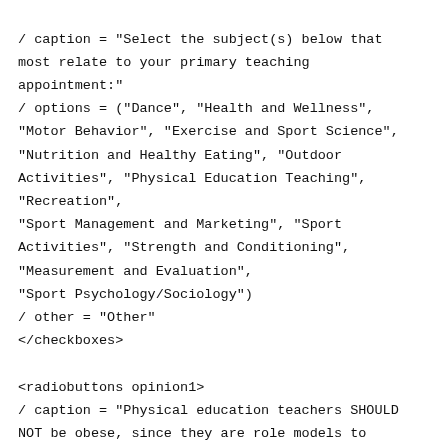/ caption = "Select the subject(s) below that most relate to your primary teaching appointment:"
/ options = ("Dance", "Health and Wellness", "Motor Behavior", "Exercise and Sport Science", "Nutrition and Healthy Eating", "Outdoor Activities", "Physical Education Teaching", "Recreation",
"Sport Management and Marketing", "Sport Activities", "Strength and Conditioning", "Measurement and Evaluation",
"Sport Psychology/Sociology")
/ other = "Other"
</checkboxes>

<radiobuttons opinion1>
/ caption = "Physical education teachers SHOULD NOT be obese, since they are role models to